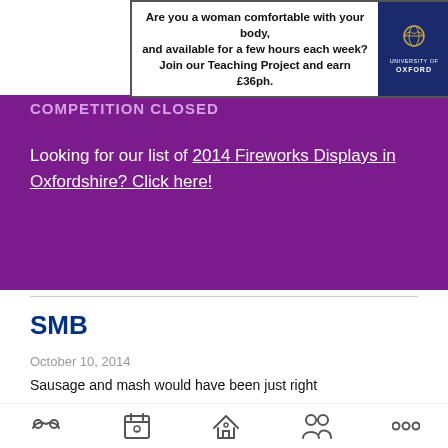[Figure (other): University of Oxford advertisement banner with text and logo]
COMPETITION CLOSED
Looking for our list of 2014 Fireworks Displays in Oxfordshire? Click here!
SMB
October 10, 2014
Sausage and mash would have been just right
To round off a splendid Bonfire Night.
But the Big Bang's closed and Max has left
And Oxford's banger lovers feel bereft.

The Big Bang Theory's off the air
[Figure (other): Bottom navigation icons: handshake, calendar star, house, people, more options dots]